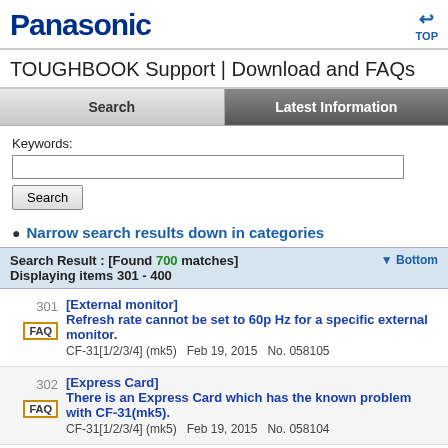[Figure (logo): Panasonic logo in dark blue bold text]
TOUGHBOOK Support | Download and FAQs
Search | Latest Information tabs
Keywords:
Narrow search results down in categories
Search Result : [Found 700 matches] Displaying items 301 - 400
301 FAQ [External monitor] Refresh rate cannot be set to 60p Hz for a specific external monitor. CF-31[1/2/3/4] (mk5) Feb 19, 2015 No. 058105
302 FAQ [Express Card] There is an Express Card which has the known problem with CF-31(mk5). CF-31[1/2/3/4] (mk5) Feb 19, 2015 No. 058104
303 [Touch Pad] There are the cases that horizontal scrolling does not work